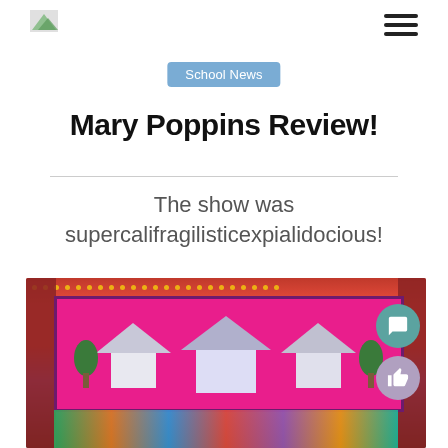[Figure (logo): Small school logo image in top left]
≡ (hamburger menu icon)
School News
Mary Poppins Review!
The show was supercalifragilisticexpialidocious!
[Figure (photo): Stage photo of Mary Poppins school production showing colorful cast on stage with house-shaped sets, pink backdrop, stage lights, and red curtains. Floating comment and like buttons visible on right side.]